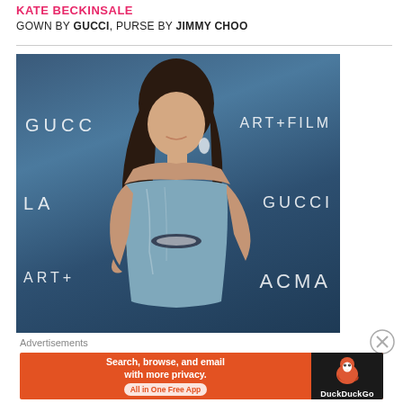KATE BECKINSALE
GOWN BY GUCCI, PURSE BY JIMMY CHOO
[Figure (photo): Kate Beckinsale in a blue-grey strapless beaded gown at LACMA ART+FILM event with Gucci backdrop]
Advertisements
[Figure (screenshot): DuckDuckGo advertisement banner: Search, browse, and email with more privacy. All in One Free App]